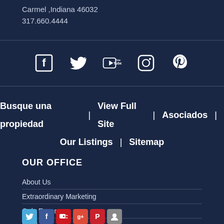Carmel ,Indiana 46032
317.660.4444
[Figure (infographic): Social media icons: Facebook, Twitter, YouTube, Instagram, Pinterest]
Busque una propiedad | View Full Site | Asociados | Our Listings | Sitemap
OUR OFFICE
About Us
Extraordinary Marketing
Only Encore
Leadership
Philanthropy
[Figure (infographic): Row of small social media icon buttons: Twitter, Facebook, YouTube, Google+, Pinterest, and a person/profile icon]